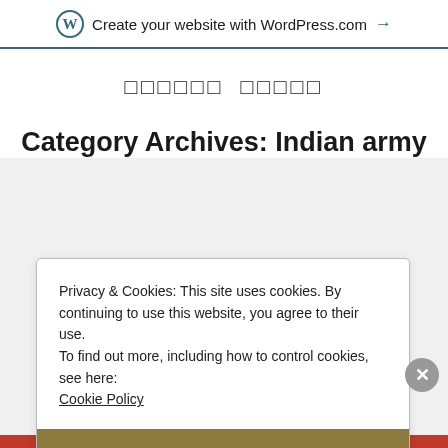Create your website with WordPress.com →
□□□□□□ □□□□□
Category Archives: Indian army
Privacy & Cookies: This site uses cookies. By continuing to use this website, you agree to their use.
To find out more, including how to control cookies, see here: Cookie Policy
Close and accept